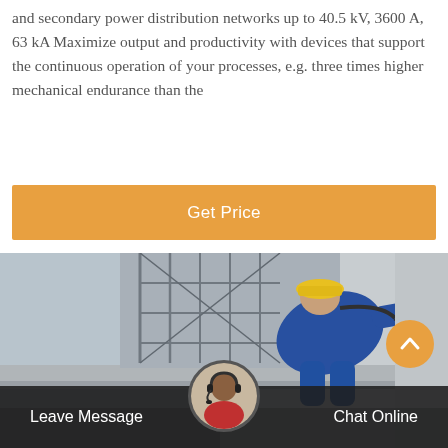and secondary power distribution networks up to 40.5 kV, 3600 A, 63 kA Maximize output and productivity with devices that support the continuous operation of your processes, e.g. three times higher mechanical endurance than the
[Figure (other): Orange 'Get Price' button]
[Figure (photo): Worker in blue overalls and yellow hard hat working on industrial equipment, scaffolding and concrete structures visible in background]
[Figure (other): Dark footer bar with 'Leave Message' on left, customer service avatar in center, 'Chat Online' on right, and orange scroll-to-top circular button]